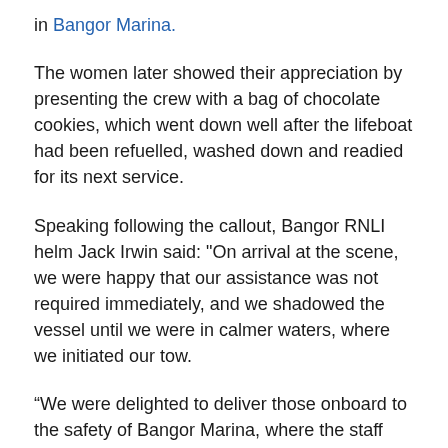in Bangor Marina.
The women later showed their appreciation by presenting the crew with a bag of chocolate cookies, which went down well after the lifeboat had been refuelled, washed down and readied for its next service.
Speaking following the callout, Bangor RNLI helm Jack Irwin said: "On arrival at the scene, we were happy that our assistance was not required immediately, and we shadowed the vessel until we were in calmer waters, where we initiated our tow.
“We were delighted to deliver those onboard to the safety of Bangor Marina, where the staff were waiting to assist with mooring.
“As we head into the summer months, now is a timely time to remind anyone planning a trip to sea to check your vessel's engine and ensure it is well maintained before setting off on a